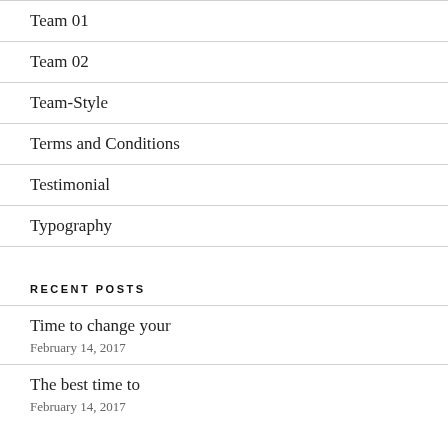Team 01
Team 02
Team-Style
Terms and Conditions
Testimonial
Typography
RECENT POSTS
Time to change your
February 14, 2017
The best time to
February 14, 2017